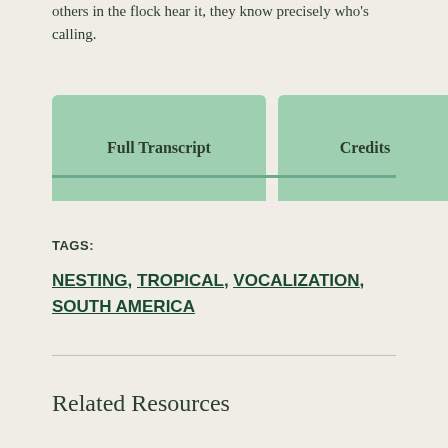others in the flock hear it, they know precisely who's calling.
[Figure (other): Two tab buttons labeled 'Full Transcript' and 'Credits' with a teal underline below them, on a light beige background.]
TAGS:
NESTING, TROPICAL, VOCALIZATION, SOUTH AMERICA
Related Resources